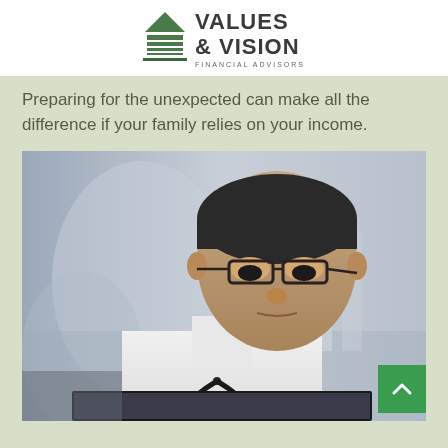VALUES & VISION FINANCIAL ADVISORS
Preparing for the unexpected can make all the difference if your family relies on your income.
[Figure (photo): A middle-aged Asian male doctor wearing glasses and a white coat with a stethoscope around his neck, looking down at a screen, with a blurred office background.]